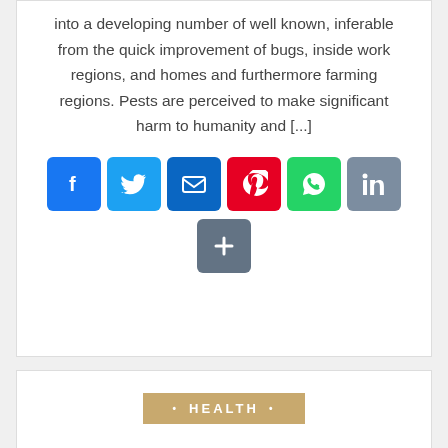into a developing number of well known, inferable from the quick improvement of bugs, inside work regions, and homes and furthermore farming regions. Pests are perceived to make significant harm to humanity and [...]
[Figure (infographic): Row of social media share buttons: Facebook (blue), Twitter (light blue), Email (blue), Pinterest (red), WhatsApp (green), LinkedIn (blue-grey), and a More (+) button (blue-grey)]
• HEALTH •